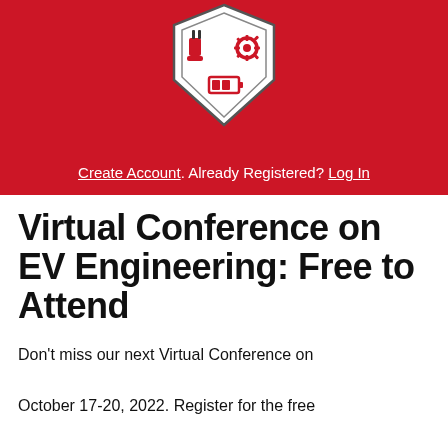[Figure (logo): Shield-shaped badge/logo icon with EV engineering symbols (plug, gear, battery) in red and dark colors on white background]
Create Account. Already Registered? Log In
Virtual Conference on EV Engineering: Free to Attend
Don't miss our next Virtual Conference on October 17-20, 2022. Register for the free webinar sessions below and reserve your spot to